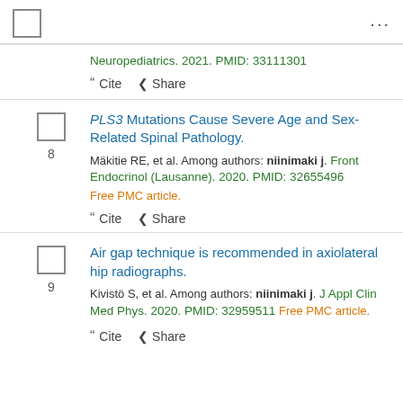...
Neuropediatrics. 2021. PMID: 33111301
Cite  Share
PLS3 Mutations Cause Severe Age and Sex-Related Spinal Pathology.
Mäkitie RE, et al. Among authors: niinimaki j. Front Endocrinol (Lausanne). 2020. PMID: 32655496 Free PMC article.
Cite  Share
Air gap technique is recommended in axiolateral hip radiographs.
Kivistö S, et al. Among authors: niinimaki j. J Appl Clin Med Phys. 2020. PMID: 32959511 Free PMC article.
Cite  Share